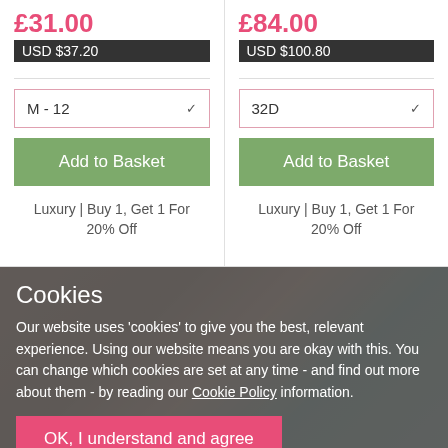£31.00
USD $37.20
M - 12
Add to Basket
Luxury | Buy 1, Get 1 For 20% Off
£84.00
USD $100.80
32D
Add to Basket
Luxury | Buy 1, Get 1 For 20% Off
Cookies
Our website uses 'cookies' to give you the best, relevant experience. Using our website means you are okay with this. You can change which cookies are set at any time - and find out more about them - by reading our Cookie Policy information.
OK, I understand and agree